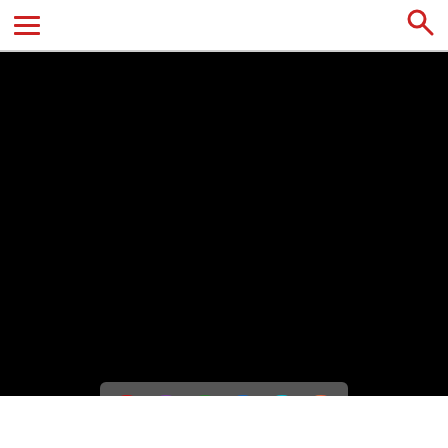Navigation header with hamburger menu and search icon
[Figure (screenshot): Large black video/image area filling most of the page]
[Figure (infographic): Social media icons bar with phone, Viber, WhatsApp, Facebook, Skype, and Instagram icons on a dark background]